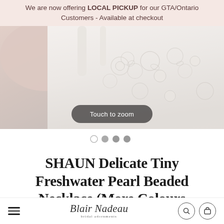We are now offering LOCAL PICKUP for our GTA/Ontario Customers - Available at checkout
[Figure (photo): Close-up photo of a white lace bridal dress bodice with floral embroidery, soft pink background. Overlay button reads 'Touch to zoom'.]
Touch to zoom
SHAUN Delicate Tiny Freshwater Pearl Beaded Necklace (More Colours & lengths)
Blair Nadeau bridal adornments